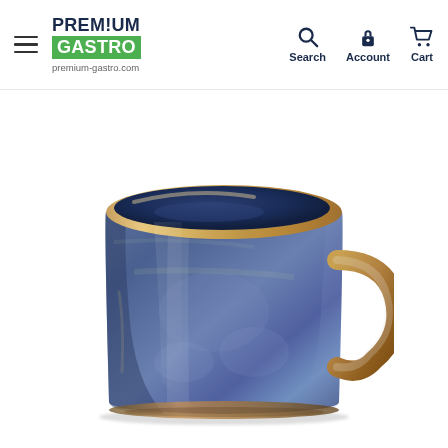PREMIUM GASTRO | premium-gastro.com | Search | Account | Cart
[Figure (photo): A ceramic coffee/espresso cup with a reactive blue glaze finish and brown earthy handle, viewed from a three-quarter angle on a white background. The cup has a wide cylindrical shape with speckled blue glaze and warm brown tones at the rim and base.]